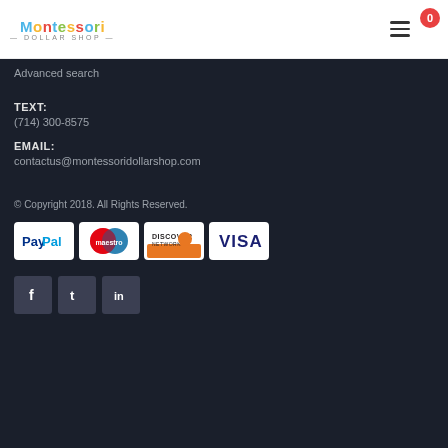Montessori Dollar Shop — header with logo, hamburger menu, cart badge (0)
Advanced search
TEXT:
(714) 300-8575
EMAIL:
contactus@montessoridollarshop.com
© Copyright 2018. All Rights Reserved.
[Figure (logo): Payment method logos: PayPal, Maestro, Discover Network, Visa]
[Figure (other): Social media buttons: Facebook (f), Twitter (bird), LinkedIn (in)]